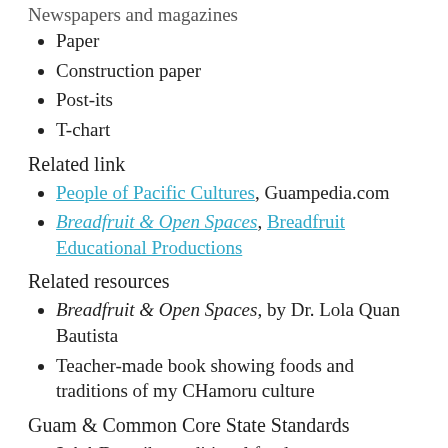Paper
Construction paper
Post-its
T-chart
Related link
People of Pacific Cultures, Guampedia.com
Breadfruit & Open Spaces, Breadfruit Educational Productions
Related resources
Breadfruit & Open Spaces, by Dr. Lola Quan Bautista
Teacher-made book showing foods and traditions of my CHamoru culture
Guam & Common Core State Standards
2.1.1 Describe traditional food, customs, sports